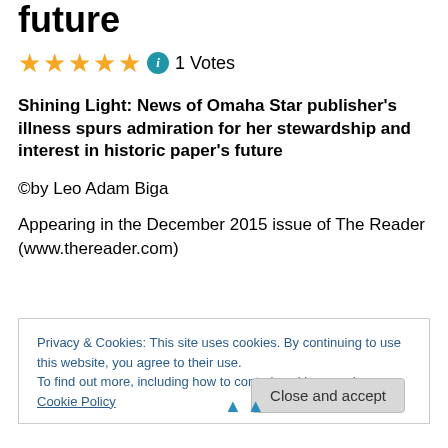future
★★★★★ ℹ 1 Votes
Shining Light: News of Omaha Star publisher's illness spurs admiration for her stewardship and interest in historic paper's future
©by Leo Adam Biga
Appearing in the December 2015 issue of The Reader (www.thereader.com)
Privacy & Cookies: This site uses cookies. By continuing to use this website, you agree to their use.
To find out more, including how to control cookies, see here: Cookie Policy
Close and accept